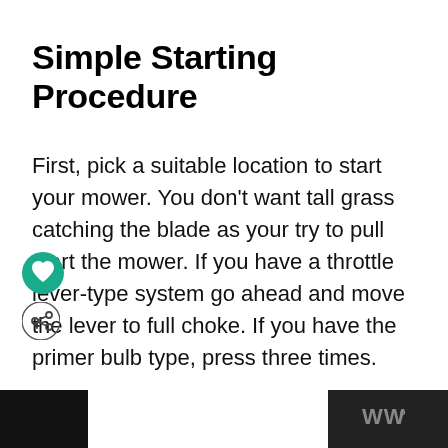Simple Starting Procedure
First, pick a suitable location to start your mower. You don't want tall grass catching the blade as your try to pull start the mower. If you have a throttle lever-type system go ahead and move the lever to full choke. If you have the primer bulb type, press three times.